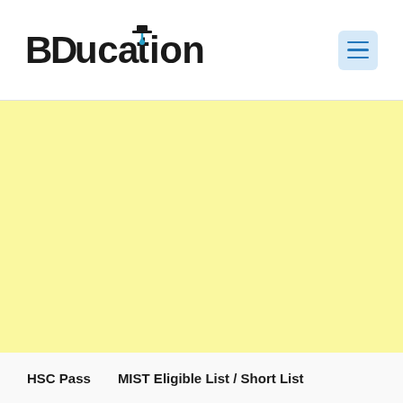BDucation
[Figure (other): Yellow advertisement banner placeholder area]
HSC Pass
MIST Eligible List / Short List